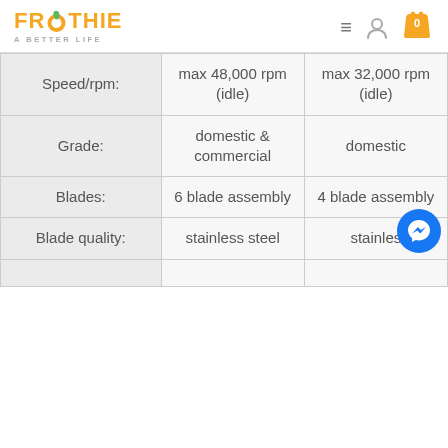Froothie - A Better Life
|  | Product 1 | Product 2 |
| --- | --- | --- |
| Speed/rpm: | max 48,000 rpm (idle) | max 32,000 rpm (idle) |
| Grade: | domestic & commercial | domestic |
| Blades: | 6 blade assembly | 4 blade assembly |
| Blade quality: | stainless steel | stainless |